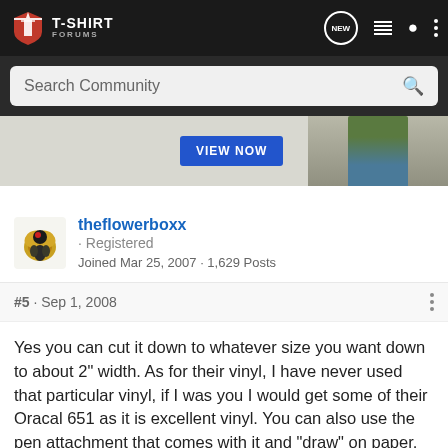T-SHIRT FORUMS
Search Community
[Figure (photo): Partial advertisement banner showing a person in a green t-shirt and jeans with a VIEW NOW button]
theflowerboxx · Registered
Joined Mar 25, 2007 · 1,629 Posts
#5 · Sep 1, 2008
Yes you can cut it down to whatever size you want down to about 2" width. As for their vinyl, I have never used that particular vinyl, if I was you I would get some of their Oracal 651 as it is excellent vinyl. You can also use the pen attachment that comes with it and "draw" on paper, instead of cutting vinyl.
[Figure (photo): Advertisement banner: ON SALE! Gildan Softstyle 67000 CVC with VIEW NOW button]